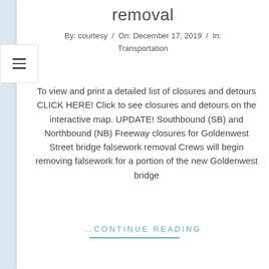removal
By: courtesy / On: December 17, 2019 / In: Transportation
To view and print a detailed list of closures and detours CLICK HERE! Click to see closures and detours on the interactive map. UPDATE! Southbound (SB) and Northbound (NB) Freeway closures for Goldenwest Street bridge falsework removal Crews will begin removing falsework for a portion of the new Goldenwest bridge
…CONTINUE READING